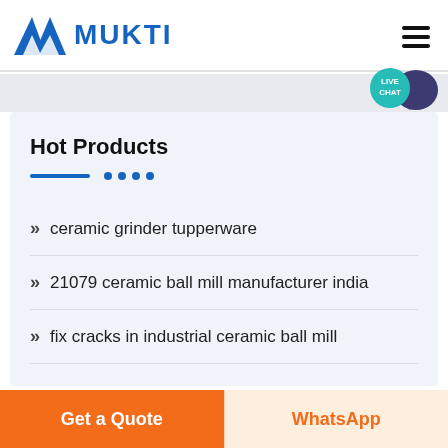MUKTI
Hot Products
ceramic grinder tupperware
21079 ceramic ball mill manufacturer india
fix cracks in industrial ceramic ball mill
Get a Quote | WhatsApp